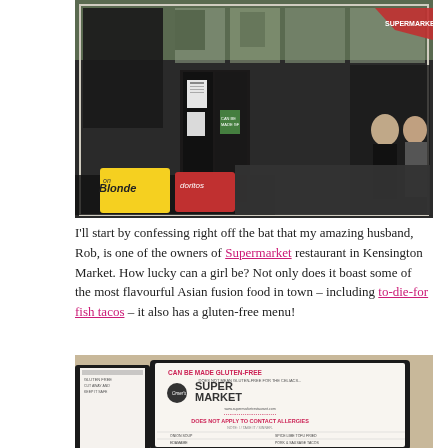[Figure (photo): Exterior photo of Supermarket restaurant in Kensington Market. Shows a storefront with large glass windows and door, menus posted, people visible inside and outside. A red umbrella is visible at top right. Signs for Blonde and other products in the foreground.]
I'll start by confessing right off the bat that my amazing husband, Rob, is one of the owners of Supermarket restaurant in Kensington Market. How lucky can a girl be? Not only does it boast some of the most flavourful Asian fusion food in town – including to-die-for fish tacos – it also has a gluten-free menu!
[Figure (photo): Close-up photo of a Supermarket restaurant gluten-free menu. The menu is open and shows checkboxes next to menu items. Header reads 'CAN BE MADE GLUTEN-FREE' and 'DOES NOT APPLY TO CONTACT ALLERGIES' with the Supermarket logo visible.]